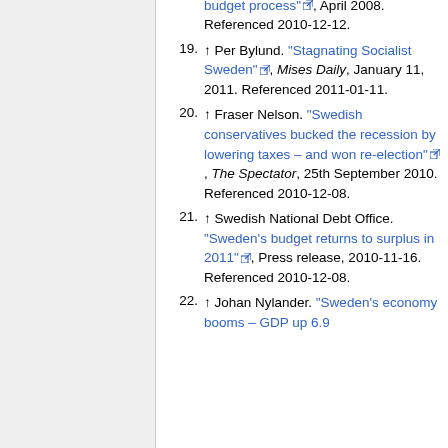18. ↑ The Swedish Parliament. "The budget process", April 2008. Referenced 2010-12-12.
19. ↑ Per Bylund. "Stagnating Socialist Sweden", Mises Daily, January 11, 2011. Referenced 2011-01-11.
20. ↑ Fraser Nelson. "Swedish conservatives bucked the recession by lowering taxes – and won re-election", The Spectator, 25th September 2010. Referenced 2010-12-08.
21. ↑ Swedish National Debt Office. "Sweden's budget returns to surplus in 2011", Press release, 2010-11-16. Referenced 2010-12-08.
22. ↑ Johan Nylander. "Sweden's economy booms – GDP up 6.9", The Swedish...